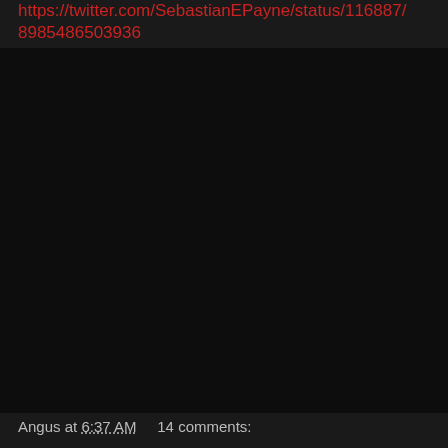https://twitter.com/SebastianEPayne/status/116887 8985486503936
Angus at 6:37 AM    14 comments:
Share
Tuesday, September 3, 2019
'Eternal love is not possible / Any other love is not worth the trouble '.
[Figure (photo): Photo of dense green foliage and plants, appearing to be a garden or natural vegetation scene]